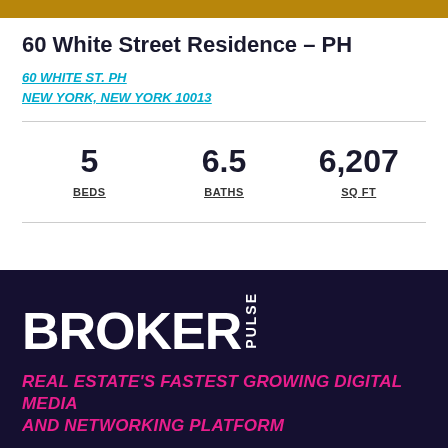60 White Street Residence – PH
60 WHITE ST. PH
NEW YORK, NEW YORK 10013
5 BEDS   6.5 BATHS   6,207 SQ FT
BROKER PULSE
REAL ESTATE'S FASTEST GROWING DIGITAL MEDIA AND NETWORKING PLATFORM